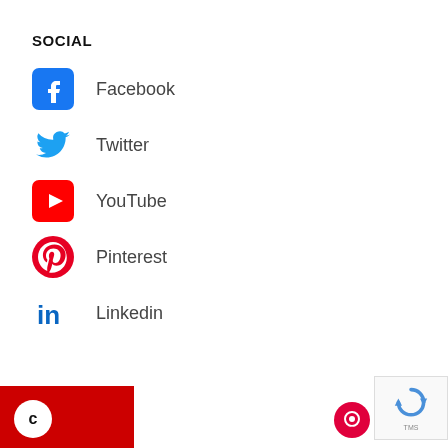SOCIAL
Facebook
Twitter
YouTube
Pinterest
Linkedin